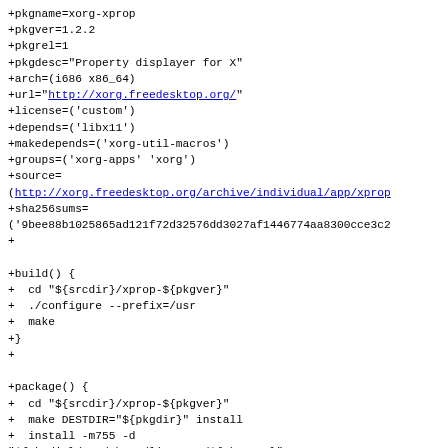+pkgname=xorg-xprop
+pkgver=1.2.2
+pkgrel=1
+pkgdesc="Property displayer for X"
+arch=(i686 x86_64)
+url="http://xorg.freedesktop.org/"
+license=('custom')
+depends=('libx11')
+makedepends=('xorg-util-macros')
+groups=('xorg-apps' 'xorg')
+source=
(http://xorg.freedesktop.org/archive/individual/app/xprop...
+sha256sums=
('9bee88b1025865ad121f72d32576dd3027af1446774aa8300cce3c2...
+
+build() {
+  cd "${srcdir}/xprop-${pkgver}"
+  ./configure --prefix=/usr
+  make
+}
+
+package() {
+  cd "${srcdir}/xprop-${pkgver}"
+  make DESTDIR="${pkgdir}" install
+  install -m755 -d
"${pkgdir}/usr/share/licenses/${pkgname}"
+  install -m644 COPYING
"${pkgdir}/usr/share/licenses/${pkgname}/"
+}